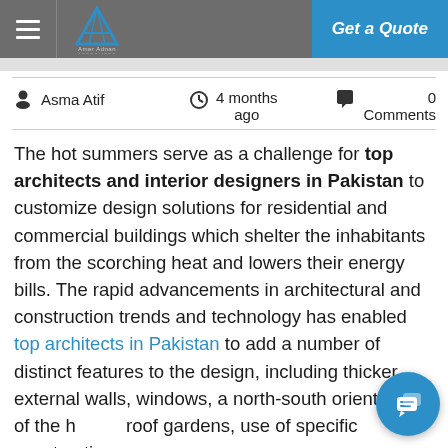Amer Adnan Associates — Get a Quote
Asma Atif   4 months ago   0 Comments
The hot summers serve as a challenge for top architects and interior designers in Pakistan to customize design solutions for residential and commercial buildings which shelter the inhabitants from the scorching heat and lowers their energy bills. The rapid advancements in architectural and construction trends and technology has enabled top architects in Pakistan to add a number of distinct features to the design, including thicker external walls, windows, a north-south orientation of the house, roof gardens, use of specific construction